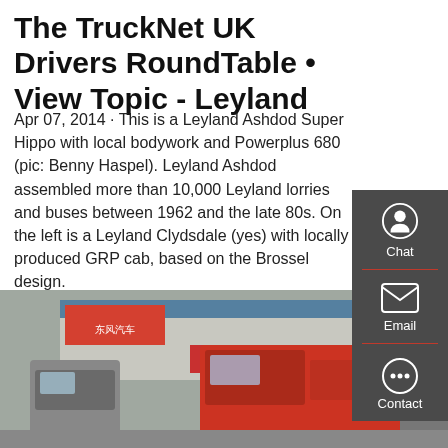The TruckNet UK Drivers RoundTable • View Topic - Leyland
Apr 07, 2014 · This is a Leyland Ashdod Super Hippo with local bodywork and Powerplus 680 (pic: Benny Haspel). Leyland Ashdod assembled more than 10,000 Leyland lorries and buses between 1962 and the late 80s. On the left is a Leyland Clydsdale (yes) with locally produced GRP cab, based on the Brossel design.
GET A QUOTE
[Figure (photo): Photograph of trucks including Chinese SINOTRUK brand trucks parked in front of a dealership building with Chinese signage including 东风汽车 and 中国重汽 SINOTRUK banners. Red cab truck visible prominently.]